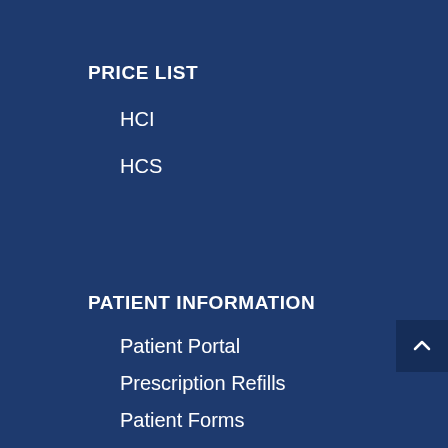PRICE LIST
HCI
HCS
PATIENT INFORMATION
Patient Portal
Prescription Refills
Patient Forms
Información en Español
Privacy Policy